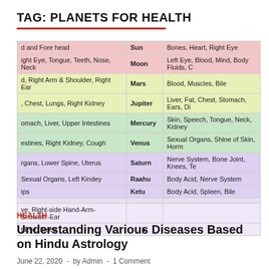TAG: PLANETS FOR HEALTH
| Left Column (partial) | Planet | Right Column (partial) |
| --- | --- | --- |
| d and Fore head | Sun | Bones, Heart, Right Eye |
| ight Eye, Tongue, Teeth, Nose, Neck | Moon | Left Eye, Blood, Mind, Body Fluids, C |
| d, Right Arm & Shoulder, Right Ear | Mars | Blood, Muscles, Bile |
| , Chest, Lungs, Right Kidney | Jupiter | Liver, Fat, Chest, Stomach, Ears, Di |
| omach, Liver, Upper Intestines | Mercury | Skin, Speech, Tongue, Neck, Kidney |
| estines, Right Kidney, Cough | Venus | Sexual Organs, Shine of Skin, Horm |
| rgans, Lower Spine, Uterus | Saturn | Nerve System, Bone Joint, Knees, Te |
| Sexual Organs, Left Kindey | Raahu | Body Acid, Nerve System |
| ips | Ketu | Body Acid, Spleen, Bile |
|  |  |  |
| ve, Right-side Hand-Arm-Shoulder-Ear |  |  |
| t Eye, Sleep |  |  |
HEALTH
Understanding Various Diseases Based on Hindu Astrology
June 22, 2020 - by Admin - 1 Comment